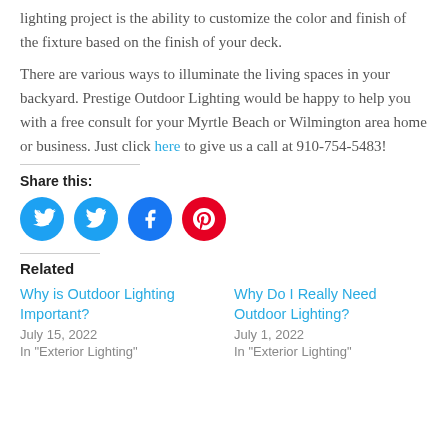lighting project is the ability to customize the color and finish of the fixture based on the finish of your deck.
There are various ways to illuminate the living spaces in your backyard. Prestige Outdoor Lighting would be happy to help you with a free consult for your Myrtle Beach or Wilmington area home or business. Just click here to give us a call at 910-754-5483!
Share this:
[Figure (other): Social share icons: Twitter (blue circle), Facebook (blue circle), Pinterest (red circle)]
Related
Why is Outdoor Lighting Important?
July 15, 2022
In "Exterior Lighting"
Why Do I Really Need Outdoor Lighting?
July 1, 2022
In "Exterior Lighting"